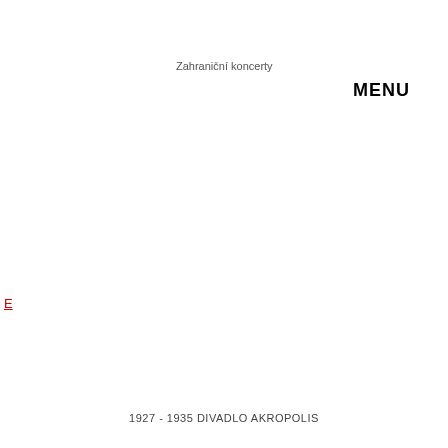Zahraniční koncerty
MENU
E
1927 - 1935 DIVADLO AKROPOLIS